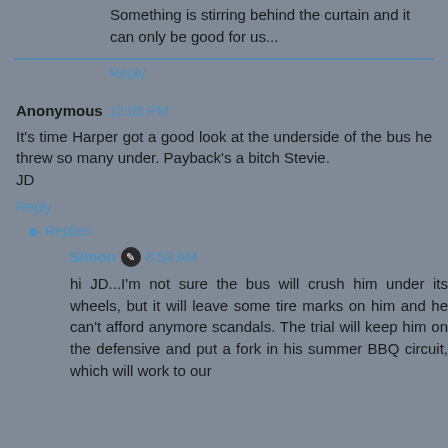Something is stirring behind the curtain and it can only be good for us...
Reply
Anonymous 12:05 PM
It's time Harper got a good look at the underside of the bus he threw so many under. Payback's a bitch Stevie.
JD
Reply
Replies
Simon 8:53 AM
hi JD...I'm not sure the bus will crush him under its wheels, but it will leave some tire marks on him and he can't afford anymore scandals. The trial will keep him on the defensive and put a fork in his summer BBQ circuit, which will work to our